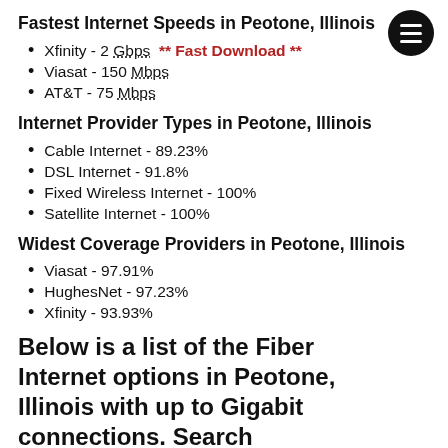Fastest Internet Speeds in Peotone, Illinois
Xfinity - 2 Gbps  ** Fast Download **
Viasat - 150 Mbps
AT&T - 75 Mbps
Internet Provider Types in Peotone, Illinois
Cable Internet - 89.23%
DSL Internet - 91.8%
Fixed Wireless Internet - 100%
Satellite Internet - 100%
Widest Coverage Providers in Peotone, Illinois
Viasat - 97.91%
HughesNet - 97.23%
Xfinity - 93.93%
Below is a list of the Fiber Internet options in Peotone, Illinois with up to Gigabit connections. Search